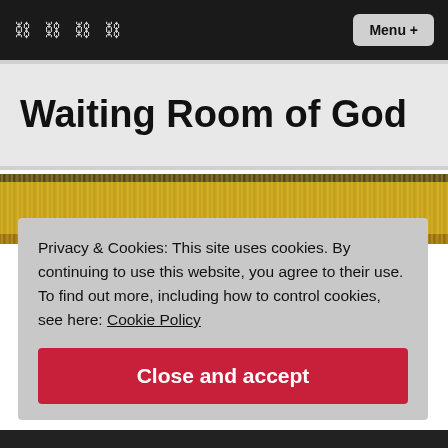Menu +
Waiting Room of God
[Figure (photo): Close-up of a golden/yellow granular textured surface with a dark border strip at top]
Privacy & Cookies: This site uses cookies. By continuing to use this website, you agree to their use. To find out more, including how to control cookies, see here: Cookie Policy
Close and accept